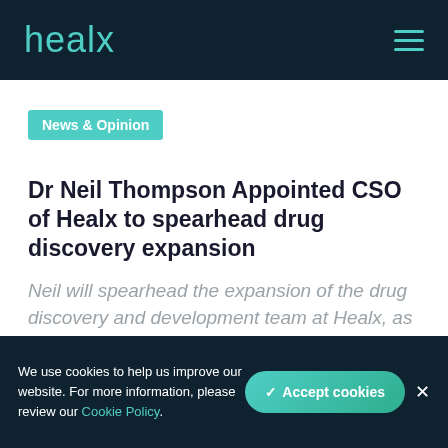healx
News & Opinion
Dr Neil Thompson Appointed CSO of Healx to spearhead drug discovery expansion
Neil will spearhead the expansion of the drug discovery and development team at Healx, as the company continues its
We use cookies to help us improve our website. For more information, please review our Cookie Policy.